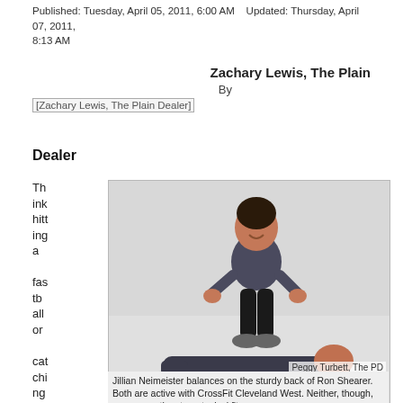Published: Tuesday, April 05, 2011, 6:00 AM    Updated: Thursday, April 07, 2011, 8:13 AM
By Zachary Lewis, The Plain Dealer
[Figure (photo): Jillian Neimeister balances on the sturdy back of Ron Shearer. Photo credit: Peggy Turbett, The PD]
Jillian Neimeister balances on the sturdy back of Ron Shearer. Both are active with CrossFit Cleveland West. Neither, though, possesses the stereotypical fit
Think hitting a fastball or catching a